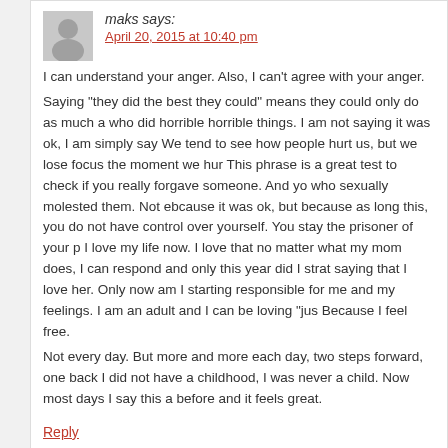maks says:
April 20, 2015 at 10:40 pm
I can understand your anger. Also, I can’t agree with your anger. Saying “they did the best they could” means they could only do as much a who did horrible horrible things. I am not saying it was ok, I am simply say We tend to see how people hurt us, but we lose focus the moment we hur This phrase is a great test to check if you really forgave someone. And yo who sexually molested them. Not ebcause it was ok, but because as long this, you do not have control over yourself. You stay the prisoner of your p I love my life now. I love that no matter what my mom does, I can respond and only this year did I strat saying that I love her. Only now am I starting responsible for me and my feelings. I am an adult and I can be loving “jus Because I feel free. Not every day. But more and more each day, two steps forward, one back I did not have a childhood, I was never a child. Now most days I say this a before and it feels great.
Reply
Blog Posts are for Sharing - Counselling Connect says: